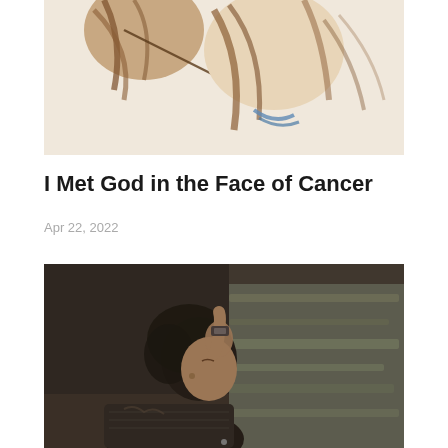[Figure (illustration): Anime-style illustration showing two characters close together, warm skin tones and brown hair, with light beige background.]
I Met God in the Face of Cancer
Apr 22, 2022
[Figure (photo): Photograph of a young woman with dark curly hair sitting in a car, hand raised near her face, looking out the window at a blurred landscape passing by. She is wearing a striped top and a watch. The photo has a moody, desaturated tone.]